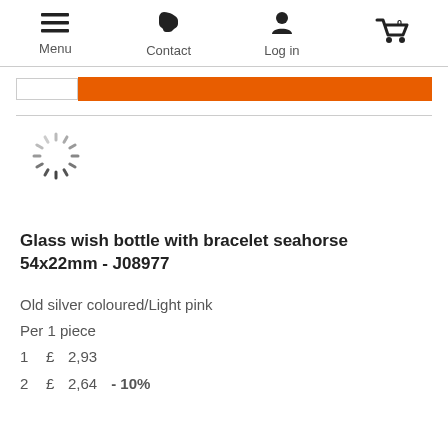Menu  Contact  Log in  0
[Figure (screenshot): Search bar with white input box on the left and orange button on the right]
[Figure (illustration): Loading spinner (circular dashed radial lines indicating loading state)]
Glass wish bottle with bracelet seahorse 54x22mm - J08977
Old silver coloured/Light pink
Per 1 piece
1    £ 2,93
2    £ 2,64   - 10%